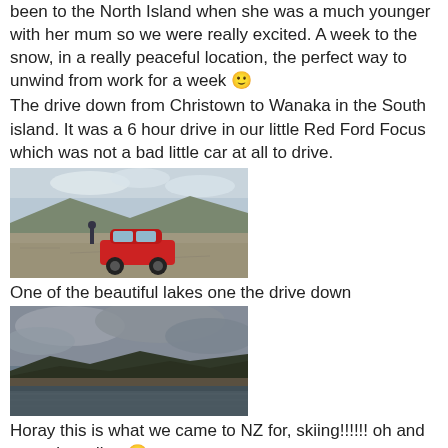been to the North Island when she was a much younger with her mum so we were really excited. A week to the snow, in a really peaceful location, the perfect way to unwind from work for a week 🙂
The drive down from Christown to Wanaka in the South island. It was a 6 hour drive in our little Red Ford Focus which was not a bad little car at all to drive.
[Figure (photo): A red Ford Focus parked on a flat gravelly lakeside landscape with mountains and cloudy sky in background]
One of the beautiful lakes one the drive down
[Figure (photo): A wide lake view with dark hills and dramatic cloudy sky, shoreline in foreground]
Horay this is what we came to NZ for, skiing!!!!!! oh and some boarding 🙂
[Figure (photo): A snowy ski slope scene with a skier visible, blue sky above]